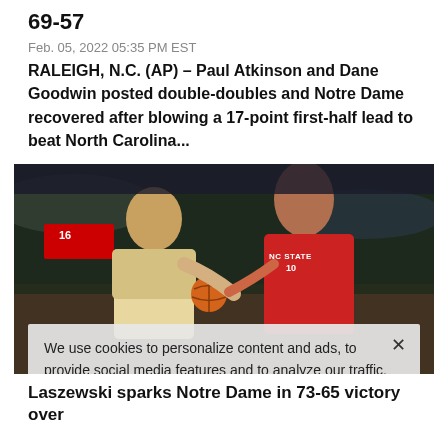69-57
Feb. 05, 2022 05:35 PM EST
RALEIGH, N.C. (AP) – Paul Atkinson and Dane Goodwin posted double-doubles and Notre Dame recovered after blowing a 17-point first-half lead to beat North Carolina...
[Figure (photo): Basketball players from Notre Dame and NC State competing, with an NC State player in a red jersey driving toward the basket against a Notre Dame defender.]
We use cookies to personalize content and ads, to provide social media features and to analyze our traffic. We also share information about your use of our site with our social media, advertising and analytics partners. Privacy Policy
Cookies Settings    Accept All Cookies
Laszewski sparks Notre Dame in 73-65 victory over